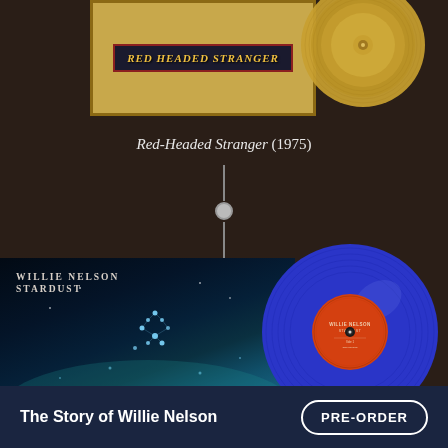[Figure (photo): Top portion of Red-Headed Stranger album cover with red and beige border and stylized text, with a partially visible gold vinyl record to the right]
Red-Headed Stranger (1975)
[Figure (illustration): Vertical timeline connector with a line, dot, and line indicating a sequence between two album entries]
[Figure (photo): Willie Nelson Stardust album cover showing a dark night sky with constellation stars and teal glow at bottom, alongside a blue vinyl record with red/orange label]
The Story of Willie Nelson
PRE-ORDER